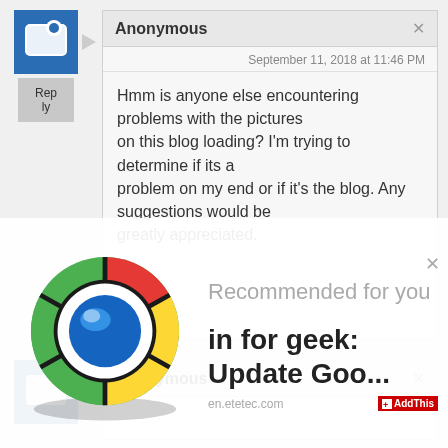[Figure (screenshot): Blog comment section showing an Anonymous user comment dated September 11, 2018 at 11:46 PM asking about image loading issues on the blog, with a reply button and avatar icon]
Anonymous
September 11, 2018 at 11:46 PM
Hmm is anyone else encountering problems with the pictures on this blog loading? I'm trying to determine if its a problem on my end or if it's the blog. Any suggestions would be greatly appreciated.
[Figure (screenshot): Second comment block partially visible showing Anonymous commenter header]
[Figure (infographic): Advertisement overlay showing Google Chrome logo with text 'Recommended for you' and 'in for geek: Update Goo...' from en.etetec.com with AddThis badge]